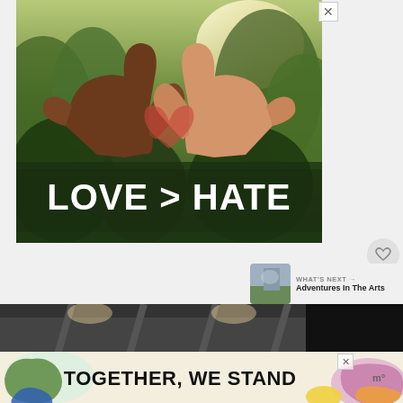[Figure (photo): Advertisement image showing two hands of different skin tones forming a heart shape against a green tree background, with bold white text reading 'LOVE > HATE']
[Figure (photo): Bottom advertisement showing colorful design with bold black text 'TOGETHER, WE STAND' on a light background with colorful blob shapes and a logo on the right]